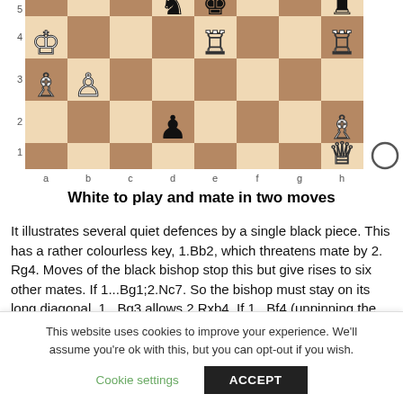[Figure (illustration): Chess board diagram showing a position with row labels 1-5 (partial, rows 1-4 visible) and column labels a-h. White pieces: King on a4, Bishop on a3, Pawn on b3, Rook on e4, Rook on h4, Queen on h1, Bishop on h2. Black pieces: Knight on d5 (partial), King on e5 (partial), Rook on h4 (partial top), Pawn on d2. A white circle marker appears to the right of h1.]
White to play and mate in two moves
It illustrates several quiet defences by a single black piece. This has a rather colourless key, 1.Bb2, which threatens mate by 2. Rg4. Moves of the black bishop stop this but give rises to six other mates. If 1...Bg1;2.Nc7. So the bishop must stay on its long diagonal. 1...Bg3 allows 2.Rxb4. If 1...Bf4 (unpinning the
This website uses cookies to improve your experience. We'll assume you're ok with this, but you can opt-out if you wish.
Cookie settings
ACCEPT